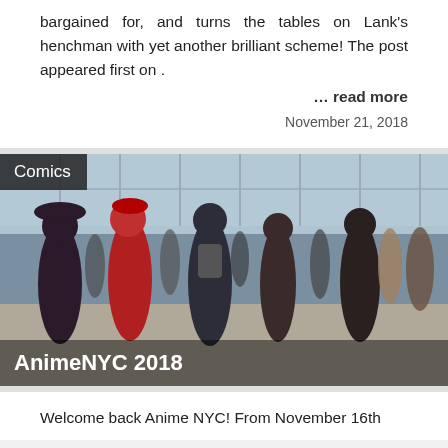bargained for, and turns the tables on Lank's henchman with yet another brilliant scheme! The post appeared first on .
… read more
November 21, 2018
[Figure (photo): Crowd of people walking inside a large convention center or public hall with glass windows in the background. Category label 'Comics' appears in the top-left corner. Title 'AnimeNYC 2018' overlaid at the bottom.]
Welcome back Anime NYC! From November 16th